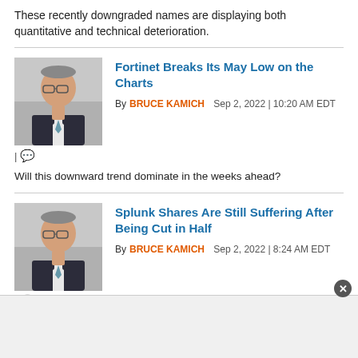These recently downgraded names are displaying both quantitative and technical deterioration.
[Figure (photo): Author photo of Bruce Kamich - man in suit and tie with glasses]
Fortinet Breaks Its May Low on the Charts
By BRUCE KAMICH  Sep 2, 2022 | 10:20 AM EDT
Will this downward trend dominate in the weeks ahead?
[Figure (photo): Author photo of Bruce Kamich - man in suit and tie with glasses]
Splunk Shares Are Still Suffering After Being Cut in Half
By BRUCE KAMICH  Sep 2, 2022 | 8:24 AM EDT
Let's check the charts and indicators.